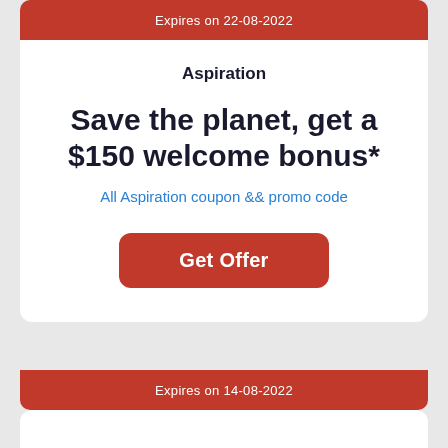Expires on 22-08-2022
Aspiration
Save the planet, get a $150 welcome bonus*
All Aspiration coupon && promo code
Get Offer
Expires on 14-08-2022